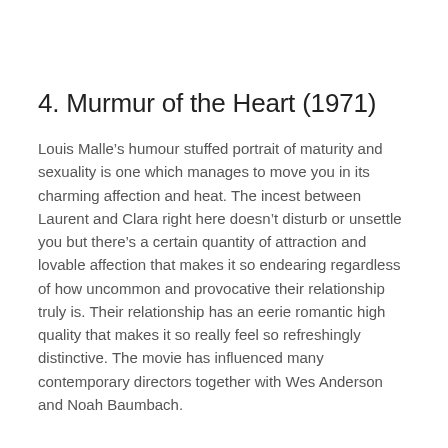4. Murmur of the Heart (1971)
Louis Malle’s humour stuffed portrait of maturity and sexuality is one which manages to move you in its charming affection and heat. The incest between Laurent and Clara right here doesn’t disturb or unsettle you but there’s a certain quantity of attraction and lovable affection that makes it so endearing regardless of how uncommon and provocative their relationship truly is. Their relationship has an eerie romantic high quality that makes it so really feel so refreshingly distinctive. The movie has influenced many contemporary directors together with Wes Anderson and Noah Baumbach.